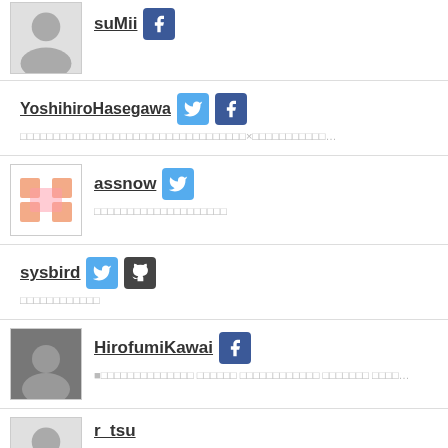suMii
YoshihiroHasegawa
assnow
sysbird
HirofumiKawai
r_tsu
h_b_p
Mizumoto